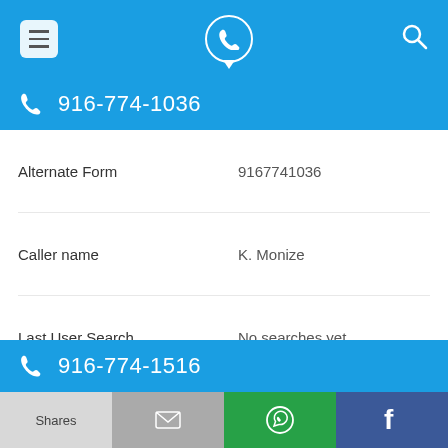[Figure (screenshot): Top navigation bar with hamburger menu icon, phone/location icon centered, and search icon on the right, on blue background]
916-774-1036
| Label | Value |
| --- | --- |
| Alternate Form | 9167741036 |
| Caller name | K. Monize |
| Last User Search | No searches yet |
| Comments | 0 |
916-774-1516
| Label | Value |
| --- | --- |
| Alternate Form | 9167741516 |
Shares | [email] | [WhatsApp] | [Facebook]